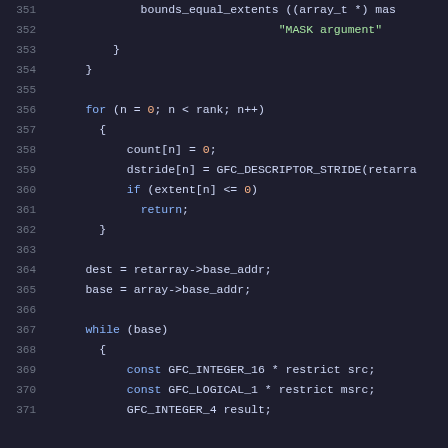[Figure (screenshot): Source code listing in a dark-themed code editor showing C code lines 351–371. Lines include bounds_equal_extents call, for loop, count/dstride/extent assignments, dest/base assignments, and while loop with const declarations.]